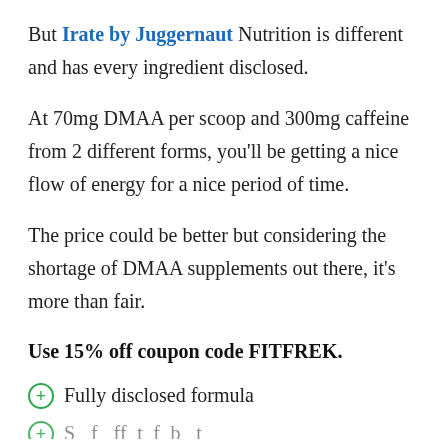But Irate by Juggernaut Nutrition is different and has every ingredient disclosed.
At 70mg DMAA per scoop and 300mg caffeine from 2 different forms, you'll be getting a nice flow of energy for a nice period of time.
The price could be better but considering the shortage of DMAA supplements out there, it's more than fair.
Use 15% off coupon code FITFREK.
Fully disclosed formula
(partially visible)